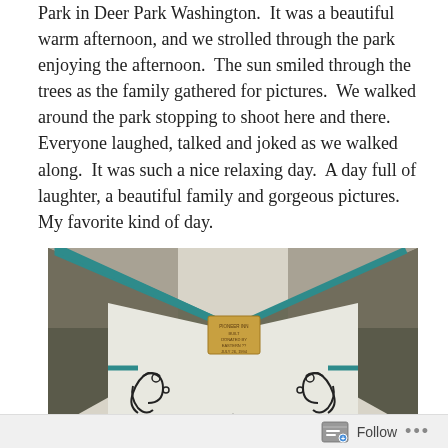Park in Deer Park Washington.  It was a beautiful warm afternoon, and we strolled through the park enjoying the afternoon.  The sun smiled through the trees as the family gathered for pictures.  We walked around the park stopping to shoot here and there.  Everyone laughed, talked and joked as we walked along.  It was such a nice relaxing day.  A day full of laughter, a beautiful family and gorgeous pictures.  My favorite kind of day.
[Figure (photo): Close-up photograph of the gabled roofline of a small building or structure, showing a thatched or mossy dark roof with teal/turquoise trim along the gable edges, and white wooden walls beneath with decorative black wrought-iron scrollwork brackets. A small golden plaque is mounted at the apex of the gable.]
Follow ···